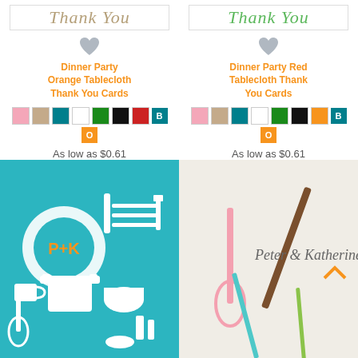[Figure (illustration): Product listing: Dinner Party Orange Tablecloth Thank You Cards with color swatches and price]
[Figure (illustration): Product listing: Dinner Party Red Tablecloth Thank You Cards with color swatches and price]
[Figure (illustration): Teal background card with white kitchen utensil illustrations and P+K monogram on a plate]
[Figure (illustration): Kraft/light background card with pink whisk, brown and teal diagonal elements and 'Peter & Katherine' cursive text]